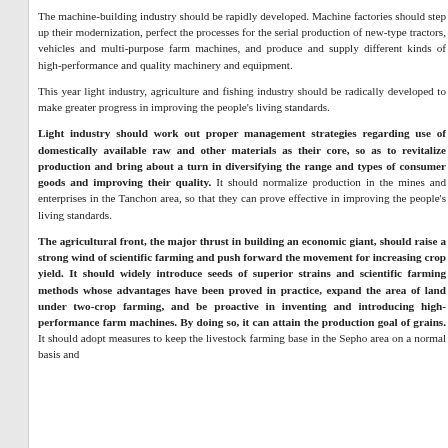The machine-building industry should be rapidly developed. Machine factories should step up their modernization, perfect the processes for the serial production of new-type tractors, vehicles and multi-purpose farm machines, and produce and supply different kinds of high-performance and quality machinery and equipment.
This year light industry, agriculture and fishing industry should be radically developed to make greater progress in improving the people's living standards.
Light industry should work out proper management strategies regarding use of domestically available raw and other materials as their core, so as to revitalize production and bring about a turn in diversifying the range and types of consumer goods and improving their quality. It should normalize production in the mines and enterprises in the Tanchon area, so that they can prove effective in improving the people's living standards.
The agricultural front, the major thrust in building an economic giant, should raise a strong wind of scientific farming and push forward the movement for increasing crop yield. It should widely introduce seeds of superior strains and scientific farming methods whose advantages have been proved in practice, expand the area of land under two-crop farming, and be proactive in inventing and introducing high-performance farm machines. By doing so, it can attain the production goal of grains. It should adopt measures to keep the livestock farming base in the Sepho area on a normal basis and